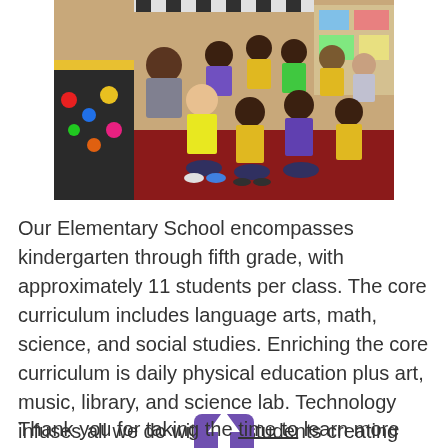[Figure (photo): Group photo of elementary school students and a teacher sitting on a red carpet in a classroom. Children are wearing yellow, green, and purple shirts. Colorful classroom decor visible in background.]
Our Elementary School encompasses kindergarten through fifth grade, with approximately 11 students per class. The core curriculum includes language arts, math, science, and social studies. Enriching the core curriculum is daily physical education plus art, music, library, and science lab. Technology infuses all we do with the students creating electronic portfolios.
[Figure (illustration): Purple upward-pointing arrow button/icon (back to top button)]
Thank you for taking the time to learn more about